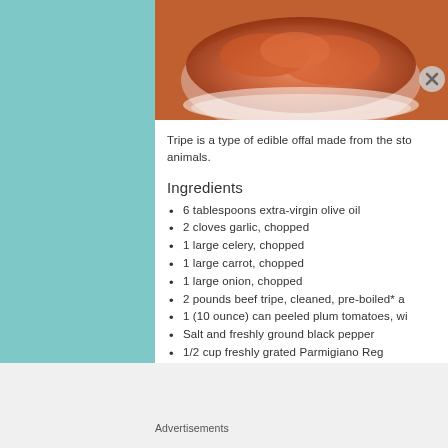[Figure (photo): Food photo showing cooked tripe dish, reddish-orange color, partially cropped at top]
Tripe is a type of edible offal made from the sto animals.
Ingredients
6 tablespoons extra-virgin olive oil
2 cloves garlic, chopped
1 large celery, chopped
1 large carrot, chopped
1 large onion, chopped
2 pounds beef tripe, cleaned, pre-boiled* a
1 (10 ounce) can peeled plum tomatoes, wi
Salt and freshly ground black pepper
1/2 cup freshly grated Parmigiano Reg…
Advertisements